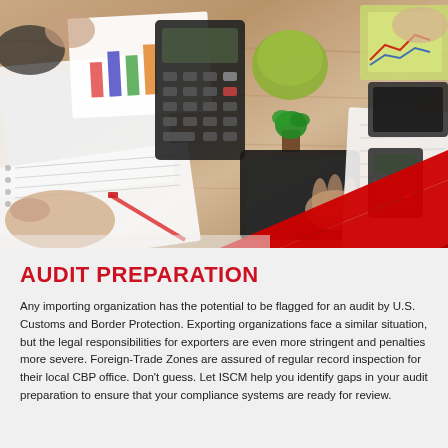[Figure (photo): Top-down aerial view of a business desk with people's hands working, showing papers with charts, notebooks, calculators, tablets, a small plant, and other office supplies on a wooden desk surface. A red diagonal chevron/arrow graphic overlays the bottom-right of the image.]
AUDIT PREPARATION
Any importing organization has the potential to be flagged for an audit by U.S. Customs and Border Protection. Exporting organizations face a similar situation, but the legal responsibilities for exporters are even more stringent and penalties more severe. Foreign-Trade Zones are assured of regular record inspection for their local CBP office. Don't guess. Let ISCM help you identify gaps in your audit preparation to ensure that your compliance systems are ready for review.